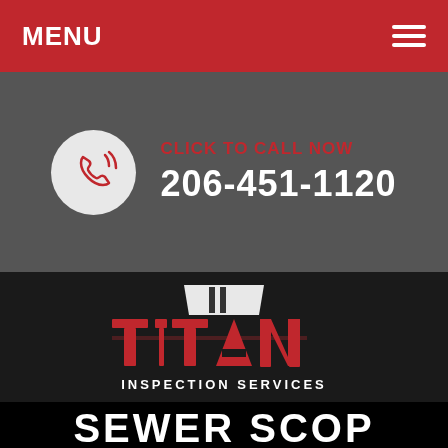MENU
CLICK TO CALL NOW
206-451-1120
[Figure (logo): Titan Inspection Services logo — red and white lettering with a camera/inspection graphic above]
SEWER SCOPE